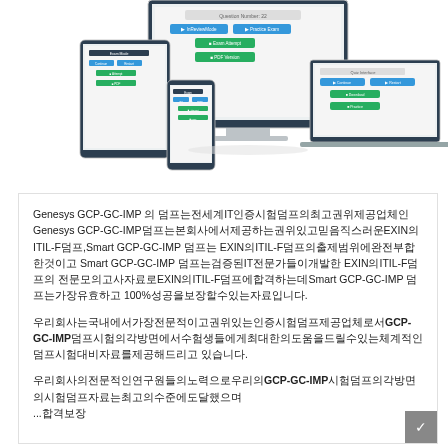[Figure (illustration): Screenshot mockup showing an exam/quiz software interface displayed on multiple devices: a desktop monitor, a laptop, a tablet, and a smartphone. The interfaces show question navigation buttons, green action buttons, and quiz content areas.]
Genesys GCP-GC-IMP 의 덤프는전세계IT인증시험덤프의최고권위제공업체인 Genesys GCP-GC-IMP덤프는본회사에서제공하는권위있고믿음직스러운EXIN의ITIL-F덤프,Smart GCP-GC-IMP 덤프는 EXIN의ITIL-F덤프의출제범위에완전부합한것이고Smart GCP-GC-IMP 덤프는검증된IT전문가들이개발한 EXIN의ITIL-F덤프의전문모의고사자료로EXIN의ITIL-F덤프에합격하는데Smart GCP-GC-IMP 덤프는가장유효하고100%성공을보장할수있는자료입니다.
우리회사는국내에서가장전문적이고权威인있는인증시험덤프제공업체로서GCP-GC-IMP덤프시험의각방면에서수험생들에게최대한의도움을드릴수있는체계적인덤프시험대비자료를제공해드리고 있습니다.
우리회사의전문적인연구원들의노력으로우리의GCP-GC-IMP시험덤프의각방면의시험덤프자료는최고의수준에도달했으며... 합격보장